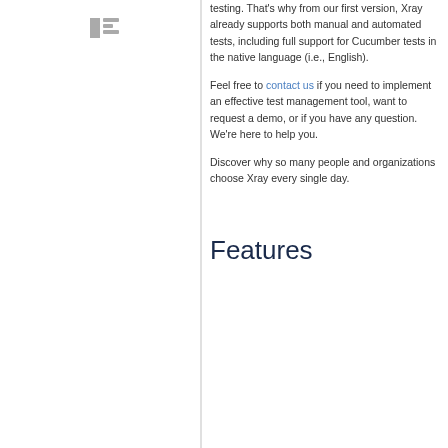testing. That's why from our first version, Xray already supports both manual and automated tests, including full support for Cucumber tests in the native language (i.e., English).
Feel free to contact us if you need to implement an effective test management tool, want to request a demo, or if you have any question. We're here to help you.
Discover why so many people and organizations choose Xray every single day.
Features